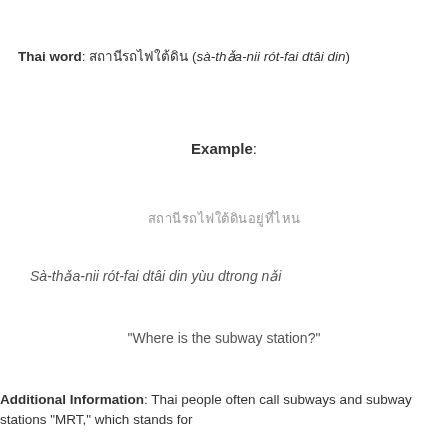Thai word: สถานีรถไฟใต้ดิน (sà-thǎa-nii rót-fai dtâi din)
Example:
สถานีรถไฟใต้ดินอยู่ที่ไหน
Sà-thǎa-nii rót-fai dtâi din yùu dtrong nǎi
“Where is the subway station?”
Additional Information: Thai people often call subways and subway stations “MRT,” which stands for